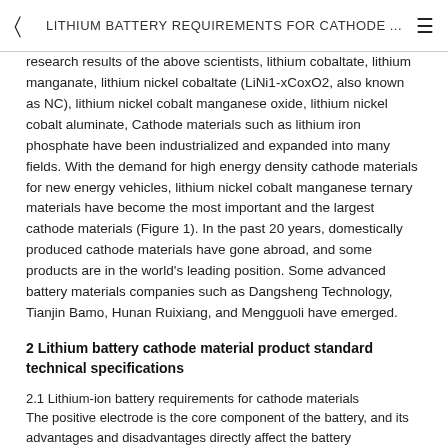LITHIUM BATTERY REQUIREMENTS FOR CATHODE ...
research results of the above scientists, lithium cobaltate, lithium manganate, lithium nickel cobaltate (LiNi1 -xCoxO2, also known as NC), lithium nickel cobalt manganese oxide, lithium nickel cobalt aluminate, Cathode materials such as lithium iron phosphate have been industrialized and expanded into many fields. With the demand for high energy density cathode materials for new energy vehicles, lithium nickel cobalt manganese ternary materials have become the most important and the largest cathode materials (Figure 1). In the past 20 years, domestically produced cathode materials have gone abroad, and some products are in the world's leading position. Some advanced battery materials companies such as Dangsheng Technology, Tianjin Bamo, Hunan Ruixiang, and Mengguoli have emerged.
2 Lithium battery cathode material product standard technical specifications
2.1 Lithium-ion battery requirements for cathode materials
The positive electrode is the core component of the battery, and its advantages and disadvantages directly affect the battery performance. In general, the following requirements are imposed on the positive active material: